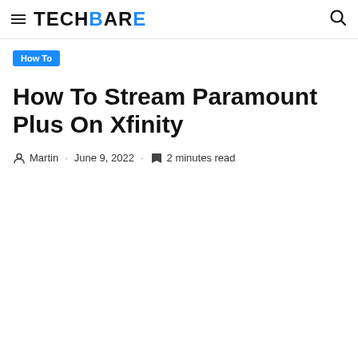TECHBARE
How To
How To Stream Paramount Plus On Xfinity
Martin · June 9, 2022 · 2 minutes read